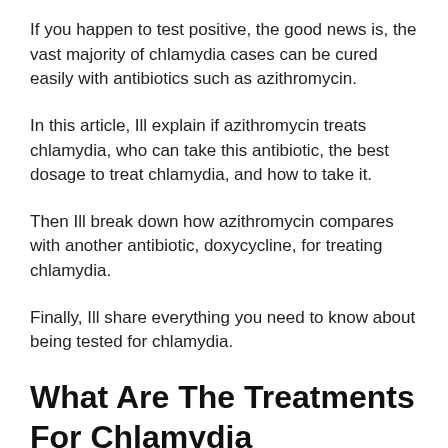If you happen to test positive, the good news is, the vast majority of chlamydia cases can be cured easily with antibiotics such as azithromycin.
In this article, Ill explain if azithromycin treats chlamydia, who can take this antibiotic, the best dosage to treat chlamydia, and how to take it.
Then Ill break down how azithromycin compares with another antibiotic, doxycycline, for treating chlamydia.
Finally, Ill share everything you need to know about being tested for chlamydia.
What Are The Treatments For Chlamydia